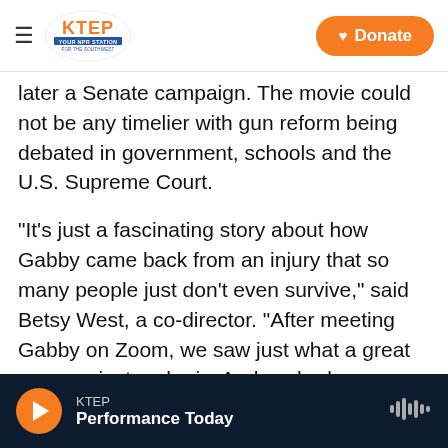KTEP — Donate
later a Senate campaign. The movie could not be any timelier with gun reform being debated in government, schools and the U.S. Supreme Court.
"It's just a fascinating story about how Gabby came back from an injury that so many people just don't even survive," said Betsy West, a co-director. "After meeting Gabby on Zoom, we saw just what a great communicator she is. And we had a sense that we might have a lot of fun despite the very difficult subject of gun violence."
At the same time, they wanted to strike the right
KTEP — Performance Today